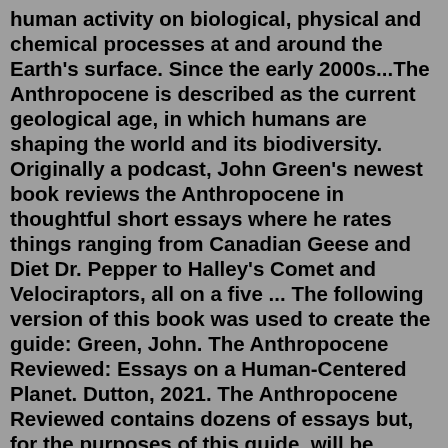human activity on biological, physical and chemical processes at and around the Earth's surface. Since the early 2000s...The Anthropocene is described as the current geological age, in which humans are shaping the world and its biodiversity. Originally a podcast, John Green's newest book reviews the Anthropocene in thoughtful short essays where he rates things ranging from Canadian Geese and Diet Dr. Pepper to Halley's Comet and Velociraptors, all on a five ... The following version of this book was used to create the guide: Green, John. The Anthropocene Reviewed: Essays on a Human-Centered Planet. Dutton, 2021. The Anthropocene Reviewed contains dozens of essays but, for the purposes of this guide, will be divided into five sections, averaging nine essays apiece. Dec 22, 2021 · Book Description. This book is devoted to the Anthropocene, the period of unprecedented human impacts on Earth's environmental systems, and illustrates how Geographers envision the concept of the Anthropocene. This edited volume illustrates that